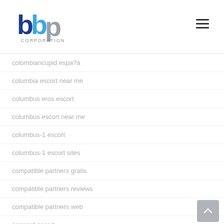[Figure (logo): BBP Corporation logo with blue and grey letters and CORPORATION text below]
colombiancupid espa?a
columbia escort near me
columbus eros escort
columbus escort near me
columbus-1 escort
columbus-1 escort sites
compatible partners gratis
compatible partners reviews
compatible partners web
concord escort